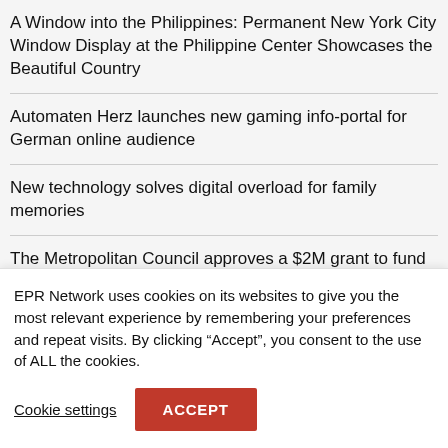A Window into the Philippines: Permanent New York City Window Display at the Philippine Center Showcases the Beautiful Country
Automaten Herz launches new gaming info-portal for German online audience
New technology solves digital overload for family memories
The Metropolitan Council approves a $2M grant to fund a landmark, transit-oriented development in the heart of St. Louis Park, Minnesota
EPR Network uses cookies on its websites to give you the most relevant experience by remembering your preferences and repeat visits. By clicking “Accept”, you consent to the use of ALL the cookies.
Cookie settings
ACCEPT